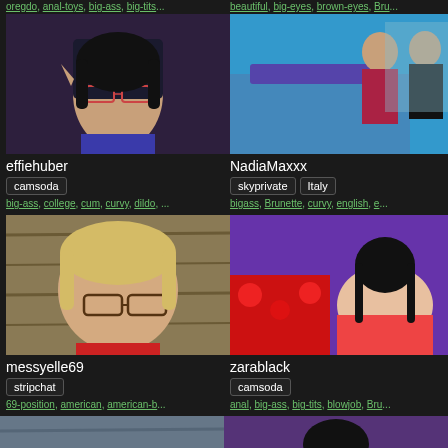oregdo, anal-toys, big-ass, big-tits... | beautiful, big-eyes, brown-eyes, Bru...
[Figure (photo): Webcam thumbnail of effiehuber]
effiehuber
camsoda
big-ass, college, cum, curvy, dildo, ...
[Figure (photo): Webcam thumbnail of NadiaMaxxx]
NadiaMaxxx
skyprivate  Italy
bigass, Brunette, curvy, english, e...
[Figure (photo): Webcam thumbnail of messyelle69]
messyelle69
stripchat
69-position, american, american-b...
[Figure (photo): Webcam thumbnail of zarablack]
zarablack
camsoda
anal, big-ass, big-tits, blowjob, Bru...
[Figure (photo): Bottom-left partial thumbnail]
[Figure (photo): Bottom-right partial thumbnail]